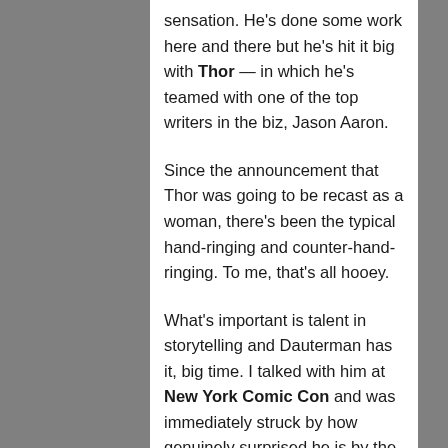sensation. He's done some work here and there but he's hit it big with Thor — in which he's teamed with one of the top writers in the biz, Jason Aaron.
Since the announcement that Thor was going to be recast as a woman, there's been the typical hand-ringing and counter-hand-ringing. To me, that's all hooey.
What's important is talent in storytelling and Dauterman has it, big time. I talked with him at New York Comic Con and was immediately struck by how genuinely surprised he is by the amount of attention his work is